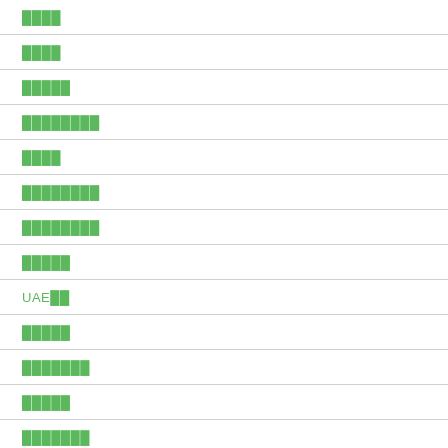████
████
█████
████████
████
████████
████████
█████
UAE██
█████
███████
█████
███████